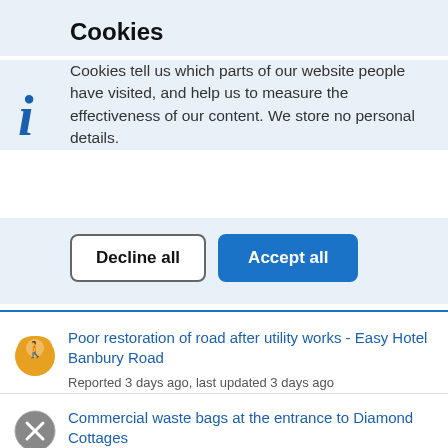Cookies
Cookies tell us which parts of our website people have visited, and help us to measure the effectiveness of our content. We store no personal details.
Decline all | Accept all
Poor restoration of road after utility works - Easy Hotel Banbury Road
Reported 3 days ago, last updated 3 days ago
Commercial waste bags at the entrance to Diamond Cottages